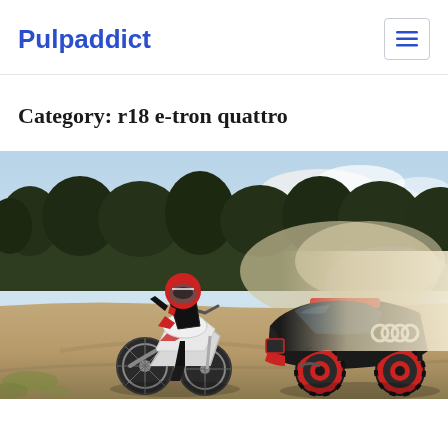Pulpaddict
Category: r18 e-tron quattro
[Figure (photo): A motorcyclist on a white adventure bike next to a black Audi off-road rally car with red wheels, on a dusty dirt track with trees and dust clouds in the background.]